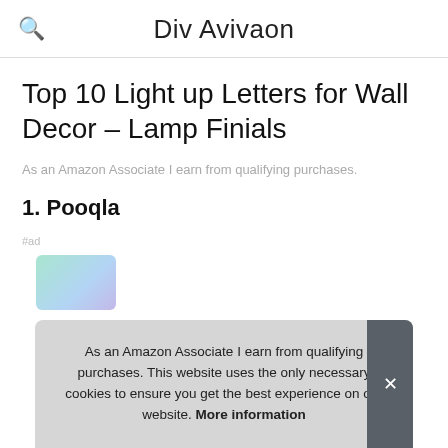Div Avivaon
Top 10 Light up Letters for Wall Decor – Lamp Finials
As an Amazon Associate I earn from qualifying purchases.
1. Pooqla
#ad
As an Amazon Associate I earn from qualifying purchases. This website uses the only necessary cookies to ensure you get the best experience on our website. More information